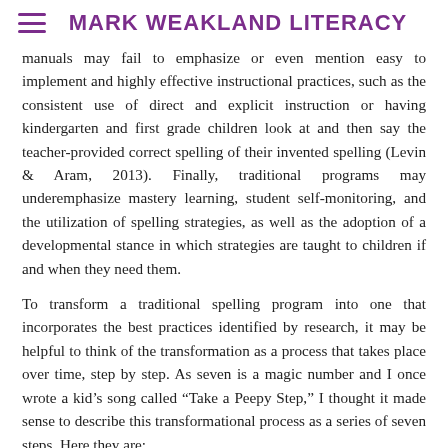MARK WEAKLAND LITERACY
manuals may fail to emphasize or even mention easy to implement and highly effective instructional practices, such as the consistent use of direct and explicit instruction or having kindergarten and first grade children look at and then say the teacher-provided correct spelling of their invented spelling (Levin & Aram, 2013). Finally, traditional programs may underemphasize mastery learning, student self-monitoring, and the utilization of spelling strategies, as well as the adoption of a developmental stance in which strategies are taught to children if and when they need them.
To transform a traditional spelling program into one that incorporates the best practices identified by research, it may be helpful to think of the transformation as a process that takes place over time, step by step. As seven is a magic number and I once wrote a kid’s song called “Take a Peepy Step,” I thought it made sense to describe this transformational process as a series of seven steps. Here they are:
1. Understand: That the alphabetic principal is foundational to